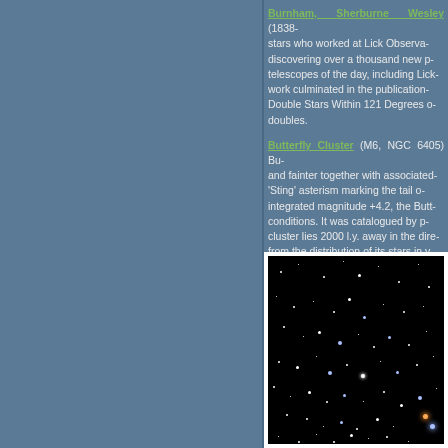Burnham, Sherburne Wesley (1838-... stars who worked at Lick Observatory, discovering over a thousand new p... telescopes of the day, including Lick... work culminated in the publication... Double Stars Within 121 Degrees o... doubles.
Butterfly Cluster (M6, NGC 6405) B... and fainter together with associated... 'Sting' asterism marking the tail o... integrated magnitude +4.2, the But... conditions. It was catalogued by p... cluster lies 2000 l.y. away in the dir... from the distribution of its stars in... apparent diameter of 33'.
[Figure (photo): Astronomical photograph of the Butterfly Cluster (M6, NGC 6405) showing stars on a black background. Various colored stars visible including blue and orange stars scattered across the field.]